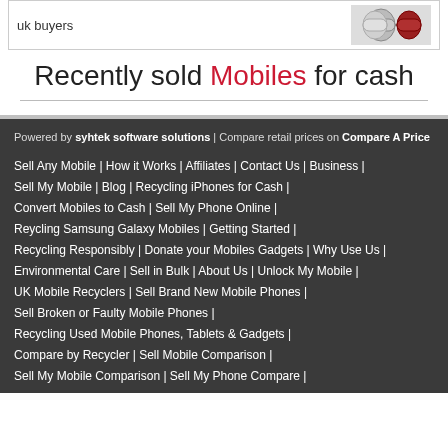[Figure (other): Banner box showing 'uk buyers' text and watch/smartwatch images]
Recently sold Mobiles for cash
Powered by syhtek software solutions | Compare retail prices on Compare A Price
Sell Any Mobile | How it Works | Affiliates | Contact Us | Business | Sell My Mobile | Blog | Recycling iPhones for Cash | Convert Mobiles to Cash | Sell My Phone Online | Reycling Samsung Galaxy Mobiles | Getting Started | Recycling Responsibly | Donate your Mobiles Gadgets | Why Use Us | Environmental Care | Sell in Bulk | About Us | Unlock My Mobile | UK Mobile Recyclers | Sell Brand New Mobile Phones | Sell Broken or Faulty Mobile Phones | Recycling Used Mobile Phones, Tablets & Gadgets | Compare by Recycler | Sell Mobile Comparison | Sell My Mobile Comparison | Sell My Phone Compare |